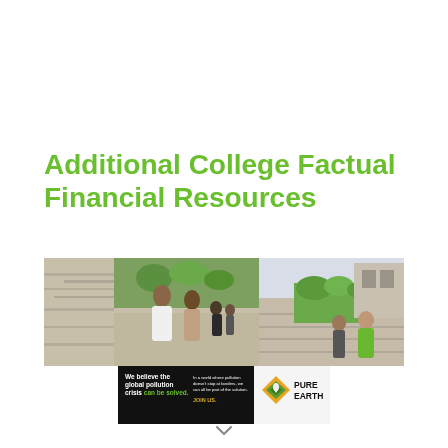Additional College Factual Financial Resources
[Figure (photo): Banner photo showing college students in an outdoor stone courtyard setting — two students in foreground talking, group of students in middle, and a student in green shirt on right]
[Figure (infographic): Pure Earth advertisement banner: black background with text 'We believe the global pollution crisis can be solved.' and 'In a world where pollution doesn't stop at borders, we can all be part of the solution. JOIN US.' with Pure Earth logo (orange/yellow diamond shape with leaf icon) and 'PURE EARTH' text in black.]